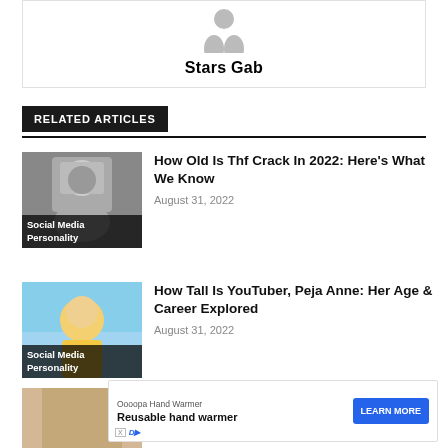[Figure (photo): Author card with avatar placeholder and name 'Stars Gab']
Stars Gab
RELATED ARTICLES
[Figure (photo): Mugshot-style photo of a young Black man with dreadlocks, labeled 'Social Media Personality']
How Old Is Thf Crack In 2022: Here's What We Know
August 31, 2022
[Figure (photo): Photo of a woman with blonde hair outdoors, labeled 'Social Media Personality']
How Tall Is YouTuber, Peja Anne: Her Age & Career Explored
August 31, 2022
[Figure (photo): Partially visible photo at bottom with ad banner overlay]
Oooopa Hand Warmer
Reusable hand warmer
LEARN MORE